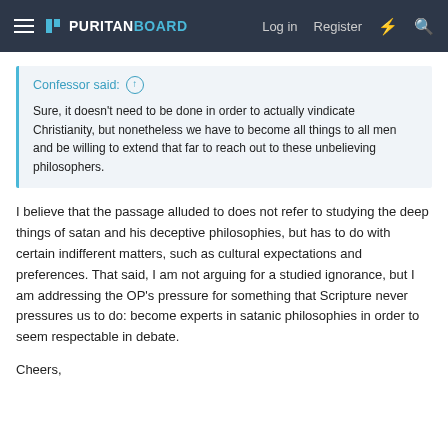PURITAN BOARD — Log in   Register
Confessor said: ↑

Sure, it doesn't need to be done in order to actually vindicate Christianity, but nonetheless we have to become all things to all men and be willing to extend that far to reach out to these unbelieving philosophers.
I believe that the passage alluded to does not refer to studying the deep things of satan and his deceptive philosophies, but has to do with certain indifferent matters, such as cultural expectations and preferences. That said, I am not arguing for a studied ignorance, but I am addressing the OP's pressure for something that Scripture never pressures us to do: become experts in satanic philosophies in order to seem respectable in debate.
Cheers,